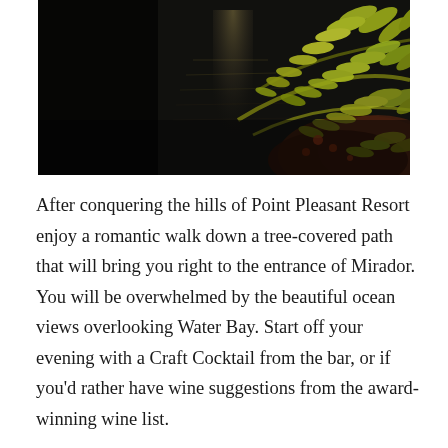[Figure (photo): Dark nighttime photo with a moonlight reflection on dark water and yellow-green fern foliage in the upper right corner]
After conquering the hills of Point Pleasant Resort enjoy a romantic walk down a tree-covered path that will bring you right to the entrance of Mirador. You will be overwhelmed by the beautiful ocean views overlooking Water Bay. Start off your evening with a Craft Cocktail from the bar, or if you'd rather have wine suggestions from the award-winning wine list.